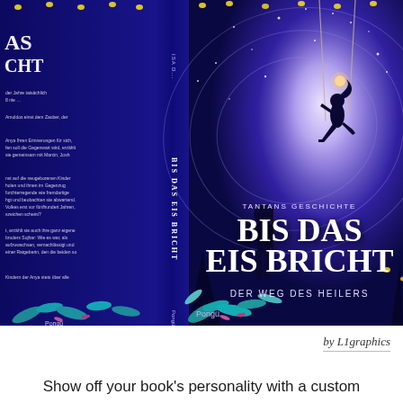[Figure (illustration): Full book cover spread for 'Bis Das Eis Bricht' (Tantans Geschichte / Der Weg des Heilers) by Pongü. Fantasy illustration showing a child silhouette on a swing against a swirling galaxy/forest background with glowing eyes, colorful foliage, and snow. Left side shows back cover with German text, center shows spine with title, right shows front cover with title text and publisher logo.]
by L1graphics
Show off your book's personality with a custom